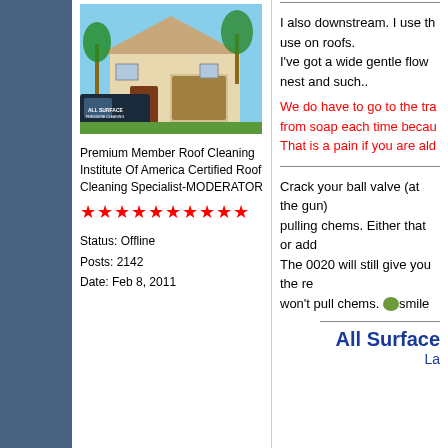[Figure (photo): Photo of a house with an 'All Surface Pressure Cleaning' van/truck in front]
Premium Member Roof Cleaning Institute Of America Certified Roof Cleaning Specialist-MODERATOR
★★★★★★★★★★
Status: Offline
Posts: 2142
Date: Feb 8, 2011
I also downstream. I use th use on roofs.
I've got a wide gentle flow nest and such..
We do have to go to the tra from soap each time becau That is a pain if you are ald
Crack your ball valve (at the gun) pulling chems. Either that or add The 0020 will still give you the re won't pull chems. smile
All Surface
La